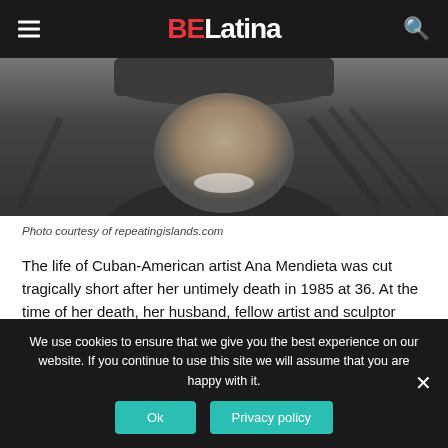BE Latina
[Figure (photo): Black and white photo of Ana Mendieta, partial view showing face and upper body, wearing a hat, laughing or smiling]
Photo courtesy of repeatingislands.com
The life of Cuban-American artist Ana Mendieta was cut tragically short after her untimely death in 1985 at 36. At the time of her death, her husband, fellow artist and sculptor Carl Andre was accused of pushing her out of a window of their 34th-floor apartment in Greenwich Village, New York City.
We use cookies to ensure that we give you the best experience on our website. If you continue to use this site we will assume that you are happy with it.